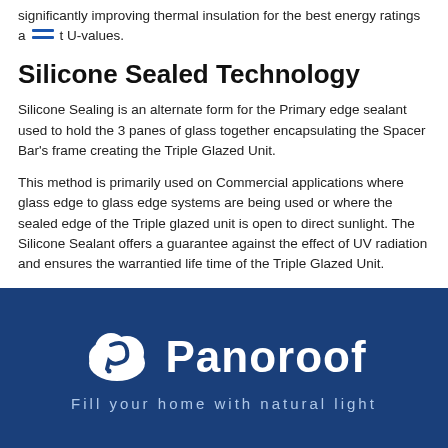significantly improving thermal insulation for the best energy ratings and the lowest t U-values.
Silicone Sealed Technology
Silicone Sealing is an alternate form for the Primary edge sealant used to hold the 3 panes of glass together encapsulating the Spacer Bar's frame creating the Triple Glazed Unit.
This method is primarily used on Commercial applications where glass edge to glass edge systems are being used or where the sealed edge of the Triple glazed unit is open to direct sunlight. The Silicone Sealant offers a guarantee against the effect of UV radiation and ensures the warrantied life time of the Triple Glazed Unit.
[Figure (logo): Panoroof logo — white cloud with stylized P icon on dark blue background, with tagline 'Fill your home with natural light']